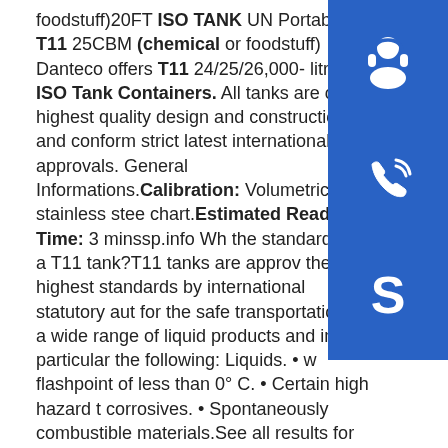foodstuff)20FT ISO TANK UN Portable T11 25CBM (chemical or foodstuff) Danteco offers T11 24/25/26,000-litre ISO Tank Containers. All tanks are of the highest quality design and construction, and conform strictly to the latest international approvals. General Informations.Calibration: Volumetric stainless steel chart.Estimated Reading Time: 3 minssp.info What are the standards for a T11 tank?T11 tanks are approved to the highest standards by international statutory authorities for the safe transportation of a wide range of liquid products and in particular the following: Liquids. • with flashpoint of less than 0° C. • Certain high hazard toxics, corrosives. • Spontaneously combustible materials.See all results for this questionsp.info What kind of tank containers does danteco use?Danteco offers T11 Type 24/25/26,000-litre ISO Tank Containers. Our tank container fleet is separated for four transportation purposes: tank containers for liquid chemical products, tank containers exclusively for liquid foodstuff and tank containers for bitumen and fuel
[Figure (illustration): Blue square button with white headset/support agent icon]
[Figure (illustration): Blue square button with white phone icon]
[Figure (illustration): Blue square button with white Skype icon (S logo)]